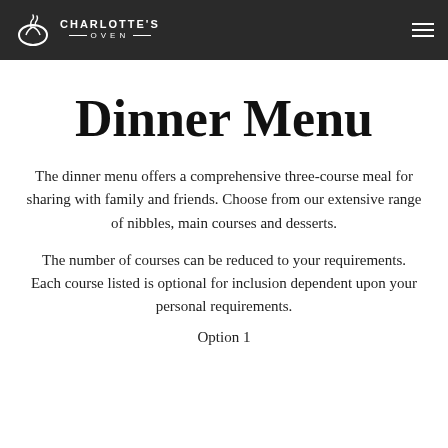Charlotte's Oven
Dinner Menu
The dinner menu offers a comprehensive three-course meal for sharing with family and friends. Choose from our extensive range of nibbles, main courses and desserts.
The number of courses can be reduced to your requirements.
Each course listed is optional for inclusion dependent upon your personal requirements.
Option 1